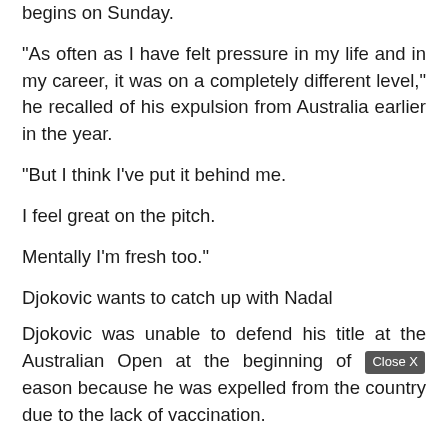begins on Sunday.
"As often as I have felt pressure in my life and in my career, it was on a completely different level," he recalled of his expulsion from Australia earlier in the year.
"But I think I've put it behind me.
I feel great on the pitch.
Mentally I'm fresh too."
Djokovic wants to catch up with Nadal
Djokovic was unable to defend his title at the Australian Open at the beginning of [Close X] season because he was expelled from the country due to the lack of vaccination.